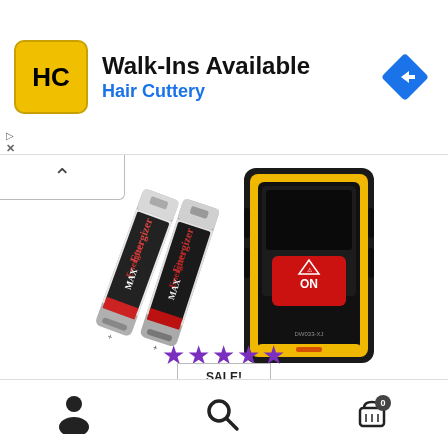[Figure (screenshot): Hair Cuttery advertisement banner showing logo (HC in yellow circle), Walk-Ins Available text, Hair Cuttery subtitle, and Google Maps navigation arrow icon]
[Figure (photo): Product photo of DEWALT laser distance meter DW033-XJ with yellow and black casing showing red ON button, alongside two Energizer MAX AA batteries]
DEWALT Dust And Waterproof Resistant Laser Distance Meter DW033-XJ
[Figure (other): Five purple star rating icons]
SALE!
[Figure (other): Bottom navigation bar with person/account icon, search magnifying glass icon, and shopping cart icon with badge showing 0]